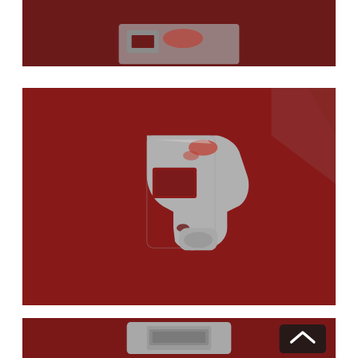[Figure (photo): Top portion of a metal bracket/hardware piece laid on dark red/maroon fabric or carpet - partial view cropped at top]
[Figure (photo): Metal bracket or clip hardware piece with a rectangular hole/slot and curved tab, laid on dark red/maroon fabric or carpet background, with grey wall visible in upper right corner]
[Figure (photo): Bottom portion of a metal bracket or latch piece shown from a different angle on dark red/maroon fabric, with a dark square button/icon with upward chevron arrow in the lower right corner]